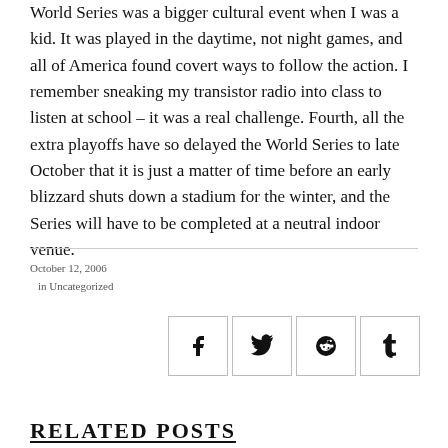World Series was a bigger cultural event when I was a kid. It was played in the daytime, not night games, and all of America found covert ways to follow the action. I remember sneaking my transistor radio into class to listen at school – it was a real challenge. Fourth, all the extra playoffs have so delayed the World Series to late October that it is just a matter of time before an early blizzard shuts down a stadium for the winter, and the Series will have to be completed at a neutral indoor venue.
October 12, 2006
  in Uncategorized
[Figure (other): Social sharing icons: Facebook, Twitter, Reddit, Tumblr]
RELATED POSTS